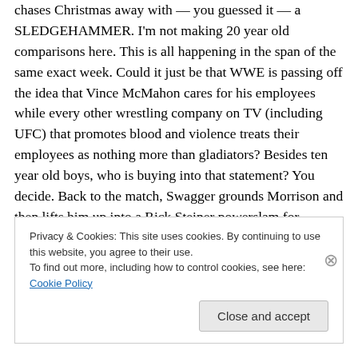chases Christmas away with — you guessed it — a SLEDGEHAMMER. I'm not making 20 year old comparisons here. This is all happening in the span of the same exact week. Could it just be that WWE is passing off the idea that Vince McMahon cares for his employees while every other wrestling company on TV (including UFC) that promotes blood and violence treats their employees as nothing more than gladiators? Besides ten year old boys, who is buying into that statement? You decide. Back to the match, Swagger grounds Morrison and then lifts him up into a Rick Steiner powerslam for
Privacy & Cookies: This site uses cookies. By continuing to use this website, you agree to their use.
To find out more, including how to control cookies, see here: Cookie Policy
Close and accept